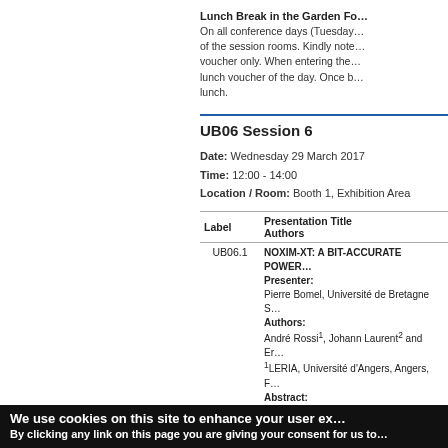Lunch Break in the Garden Fo…
On all conference days (Tuesday… of the session rooms. Kindly note… voucher only. When entering the… lunch voucher of the day. Once b… lunch.
UB06 Session 6
Date: Wednesday 29 March 2017
Time: 12:00 - 14:00
Location / Room: Booth 1, Exhibition Area
| Label | Presentation Title
Authors |
| --- | --- |
| UB06.1 | NOXIM-XT: A BIT-ACCURATE POWER…
Presenter:
Pierre Bomel, Université de Bretagne S…
Authors:
André Rossi¹, Johann Laurent² and Er…
¹LERIA, Université d'Angers, Angers, F…
Abstract: |
We use cookies on this site to enhance your user ex…
By clicking any link on this page you are giving your consent for us to…